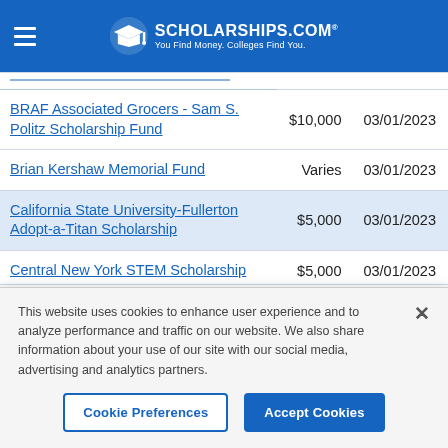SCHOLARSHIPS.COM® — You Find Money. Colleges Find You.
| Scholarship Name | Amount | Deadline |
| --- | --- | --- |
| BRAF Associated Grocers - Sam S. Politz Scholarship Fund | $10,000 | 03/01/2023 |
| Brian Kershaw Memorial Fund | Varies | 03/01/2023 |
| California State University-Fullerton Adopt-a-Titan Scholarship | $5,000 | 03/01/2023 |
| Central New York STEM Scholarship | $5,000 | 03/01/2023 |
This website uses cookies to enhance user experience and to analyze performance and traffic on our website. We also share information about your use of our site with our social media, advertising and analytics partners.